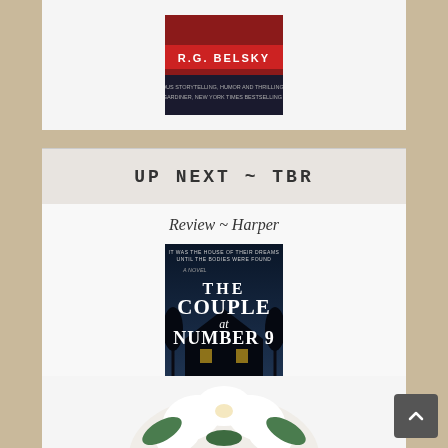[Figure (photo): Partial view of a book cover by R.G. Belsky at the top of the page]
UP NEXT ~ TBR
Review ~ Harper
[Figure (photo): Book cover of 'The Couple at Number 9' by Claire Douglas, showing dark house imagery with white text]
[Figure (photo): Partial view of white magnolia flowers at the bottom of the page]